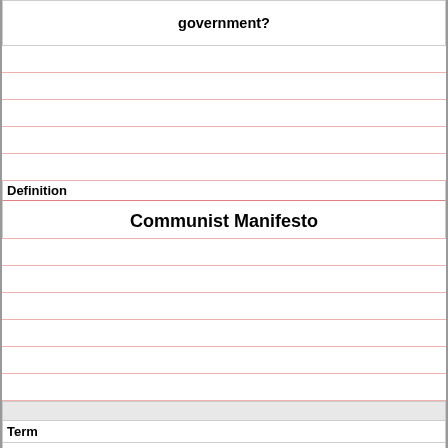| government? |
|  |
|  |
|  |
| Definition |
| Communist Manifesto |
|  |
|  |
|  |
|  |
|  |
|  |
| Term |
| Prohibition made drinking illegal, but it did not stop many |